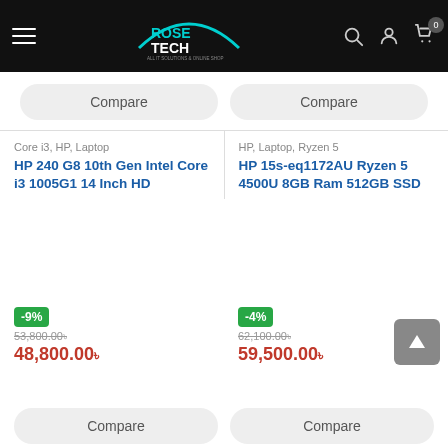RoseTech - All IT Solutions & Online Shop
Compare
Compare
Core i3, HP, Laptop
HP 240 G8 10th Gen Intel Core i3 1005G1 14 Inch HD
HP, Laptop, Ryzen 5
HP 15s-eq1172AU Ryzen 5 4500U 8GB Ram 512GB SSD
-9%
53,800.00
48,800.00৳
-4%
62,100.00
59,500.00৳
Compare
Compare